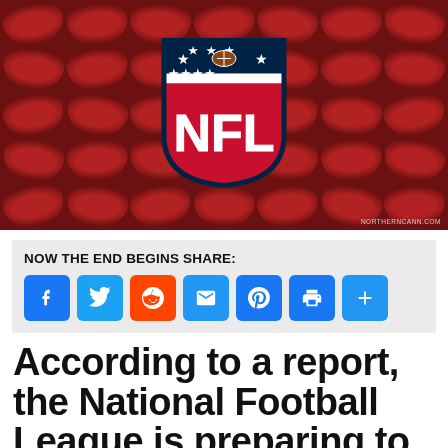[Figure (photo): NFL logo shield (red NFL letters on blue/red shield with stars) centered over a background of many red footballs arranged in a grid pattern. Watermark 'NORTHERNCANN.COM' in bottom right.]
NOW THE END BEGINS SHARE:
[Figure (infographic): Row of 7 social share buttons in blue rounded squares: Facebook (f), Twitter (bird), Reddit, Email (envelope), Pinterest (P), Print (printer), Plus (+)]
According to a report, the National Football League is preparing to roll out even more